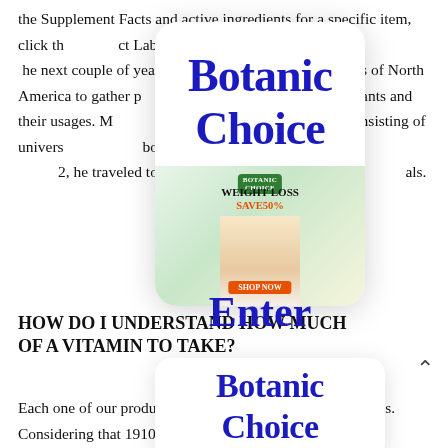the Supplement Facts and active ingredients for a specific item, click the "Product Label" link on the item information page. Over the next couple of years, Joseph took trips to many parts of North America to gather plants and gather details on native plants and their usages. Members came from all over the world consisting of university teachers, botanists and people from all ranks of culture. In 1912, he traveled to Europe to look for unique botanical ideals.
[Figure (other): Popup overlay card showing 'Botanic Choice' branding in large dark blue text, with a weight loss advertisement image below showing 'WEIGHT LOSS SAVE 50% SHOP NOW' with a body image and green logo.]
[Figure (other): Overlay text showing 'Enter' in large dark blue bold font.]
[Figure (other): Second popup card overlay showing 'Botanic Choice' in large dark blue bold text.]
HOW DO I UNDERSTAND HOW MUCH OF A VITAMIN TO TAKE?
Each one of our products has actually Suggested Use details. Considering that 1910 customers have